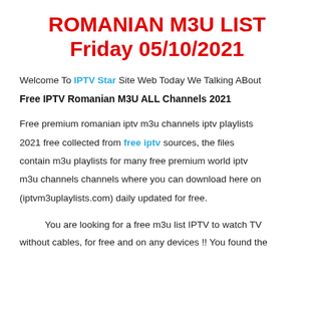ROMANIAN M3U LIST Friday 05/10/2021
Welcome To IPTV Star Site Web Today We Talking ABout
Free IPTV Romanian M3U ALL Channels 2021
Free premium romanian iptv m3u channels iptv playlists 2021 free collected from free iptv sources, the files contain m3u playlists for many free premium world iptv m3u channels channels where you can download here on (iptvm3uplaylists.com) daily updated for free.
You are looking for a free m3u list IPTV to watch TV without cables, for free and on any devices !! You found the